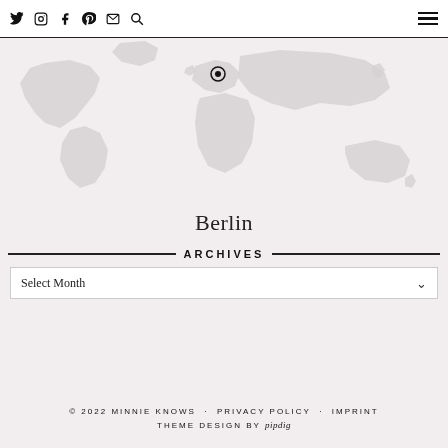Twitter Instagram Facebook Pinterest Mail Search | Menu
[Figure (map): World map in light grey with a location pin marker indicating Berlin, Germany in central Europe]
Berlin
ARCHIVES
Select Month
© 2022 MINNIE KNOWS · PRIVACY POLICY · IMPRINT
THEME DESIGN BY pipdig